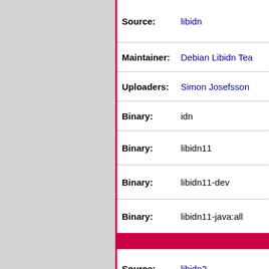| Field | Value |
| --- | --- |
| Source: | libidn |
| Maintainer: | Debian Libidn Tea… |
| Uploaders: | Simon Josefsson |
| Binary: | idn |
| Binary: | libidn11 |
| Binary: | libidn11-dev |
| Binary: | libidn11-java:all |
| Source: | libidn2 |
| Maintainer: | Debian Libidn tea… |
| Uploaders: | Simon Josefsson |
| Binary: | idn2 |
| Binary: | libidn2-0 |